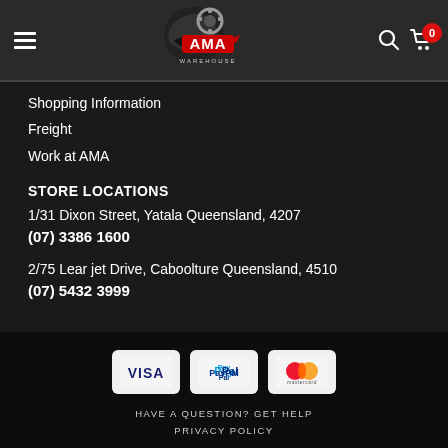[Figure (logo): AMA Warehouse logo with motorcycle helmet graphic]
Shopping Information
Freight
Work at AMA
STORE LOCATIONS
1/31 Dixon Street, Yatala Queensland, 4207
(07) 3386 1600
2/75 Lear jet Drive, Caboolture Queensland, 4510
(07) 5432 3999
[Figure (logo): Visa payment logo on light background card]
[Figure (logo): PayPal payment logo on light background card]
[Figure (logo): Mastercard payment logo on light background card]
HAVE A QUESTION? GET HELP
PRIVACY POLICY